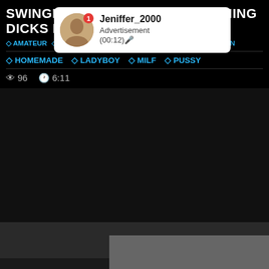SWINGER WIFE GETS TWO CUMMING DICKS IN HER PUSSY
[Figure (screenshot): Advertisement popup showing user Jeniffer_2000 with profile photo, badge count 1, label Advertisement, duration (00:12)]
AMATEUR  CREAMPIE  CUMSHOT  DOUBLE PENETRATION
HOMEMADE  LADYBOY  MILF  PUSSY
96  6:11
[Figure (screenshot): Gray video player placeholder area]